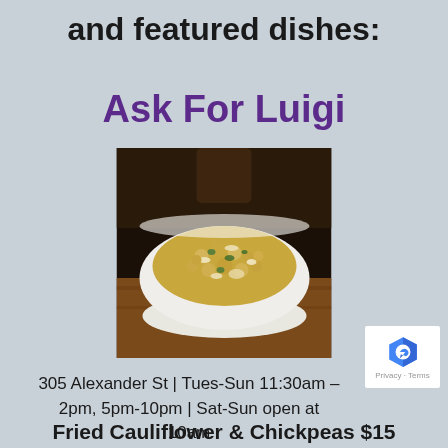and featured dishes:
Ask For Luigi
[Figure (photo): A white bowl filled with fried cauliflower and chickpeas, served on a wooden table with a dark background.]
305 Alexander St | Tues-Sun 11:30am – 2pm, 5pm-10pm | Sat-Sun open at 10am
Fried Cauliflower & Chickpeas $15